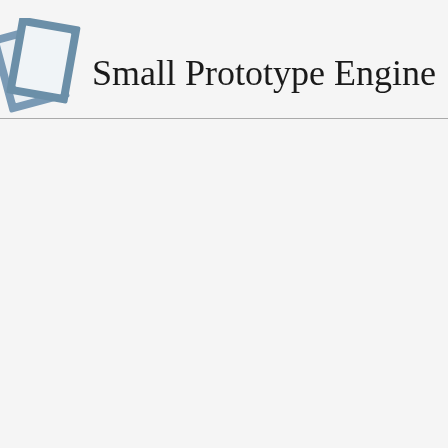[Figure (logo): Two overlapping rotated square/document icons in steel blue/slate color, resembling a logo for a prototype engineering entity.]
Small Prototype Engine